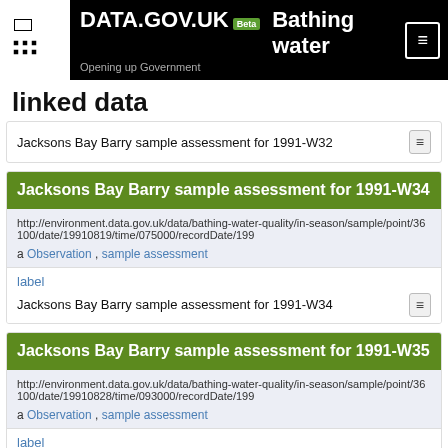DATA.GOV.UK Beta | Bathing water linked data
Jacksons Bay Barry sample assessment for 1991-W32
Jacksons Bay Barry sample assessment for 1991-W34
http://environment.data.gov.uk/data/bathing-water-quality/in-season/sample/point/36100/date/19910819/time/075000/recordDate/199
a Observation , sample assessment
label
Jacksons Bay Barry sample assessment for 1991-W34
Jacksons Bay Barry sample assessment for 1991-W35
http://environment.data.gov.uk/data/bathing-water-quality/in-season/sample/point/36100/date/19910828/time/093000/recordDate/199
a Observation , sample assessment
label
Jacksons Bay Barry sample assessment for 1991-W35